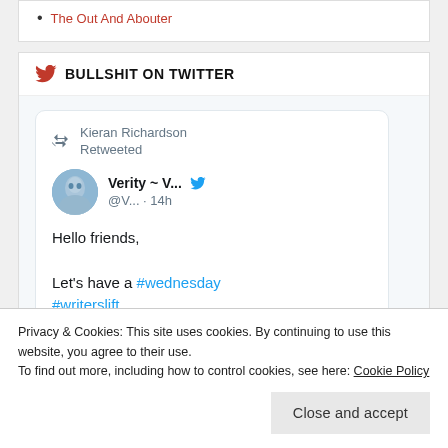The Out And Abouter
BULLSHIT ON TWITTER
[Figure (screenshot): Embedded tweet card showing Kieran Richardson Retweeted, Verity ~ V... @V... · 14h, with text: Hello friends, Let's have a #wednesday #writerslift]
Privacy & Cookies: This site uses cookies. By continuing to use this website, you agree to their use.
To find out more, including how to control cookies, see here: Cookie Policy
Close and accept